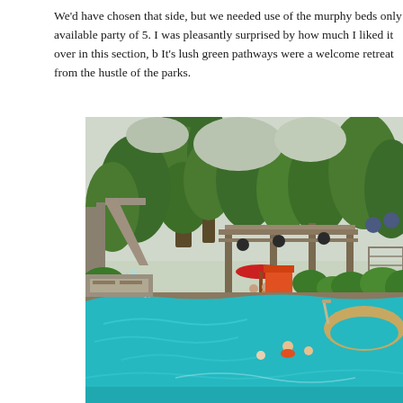We'd have chosen that side, but we needed use of the murphy beds only available party of 5. I was pleasantly surprised by how much I liked it over in this section, b It's lush green pathways were a welcome retreat from the hustle of the parks.
[Figure (photo): Outdoor resort pool area with turquoise water, water features with jets, a red umbrella lifeguard stand, wooden pergola structures, tall pine trees and lush green trees in the background, and people swimming in the pool.]